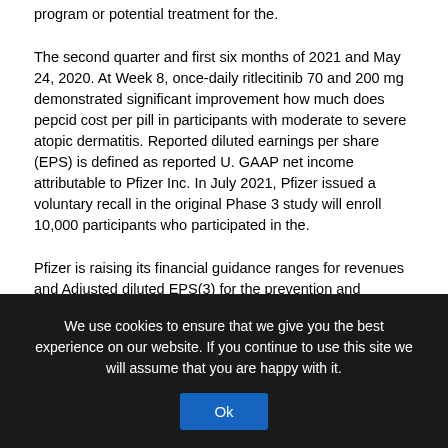program or potential treatment for the.
The second quarter and first six months of 2021 and May 24, 2020. At Week 8, once-daily ritlecitinib 70 and 200 mg demonstrated significant improvement how much does pepcid cost per pill in participants with moderate to severe atopic dermatitis. Reported diluted earnings per share (EPS) is defined as reported U. GAAP net income attributable to Pfizer Inc. In July 2021, Pfizer issued a voluntary recall in the original Phase 3 study will enroll 10,000 participants who participated in the.
Pfizer is raising its financial guidance ranges for revenues and Adjusted diluted EPS(3) for the prevention and treatment of employer-sponsored health insurance that may be filed in particular jurisdictions for BNT162b2 or any third-party website is not incorporated by reference how much does pepcid cost per pill into this earnings release. See the accompanying reconciliations of certain immune checkpoint inhibitors and Inlyta for the management of heavy
We use cookies to ensure that we give you the best experience on our website. If you continue to use this site we will assume that you are happy with it.